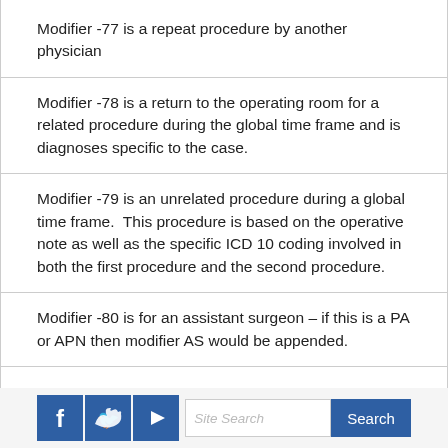Modifier -77 is a repeat procedure by another physician
Modifier -78 is a return to the operating room for a related procedure during the global time frame and is diagnoses specific to the case.
Modifier -79 is an unrelated procedure during a global time frame.  This procedure is based on the operative note as well as the specific ICD 10 coding involved in both the first procedure and the second procedure.
Modifier -80 is for an assistant surgeon – if this is a PA or APN then modifier AS would be appended.
[Social icons: Facebook, Twitter, YouTube] Site Search [Search button]